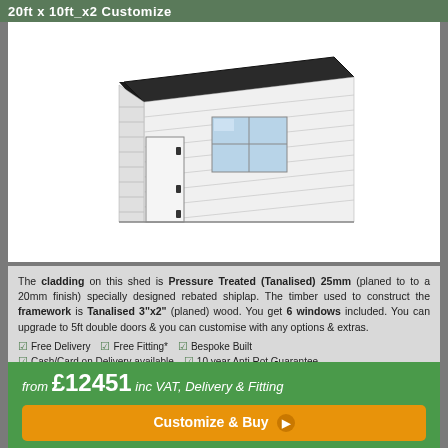20ft x 10ft_x2 Customize
[Figure (illustration): 3D line-drawing illustration of a pent-roof garden shed with horizontal shiplap cladding, a door on the left side, a window in the center, and a dark felt roof.]
The cladding on this shed is Pressure Treated (Tanalised) 25mm (planed to to a 20mm finish) specially designed rebated shiplap. The timber used to construct the framework is Tanalised 3"x2" (planed) wood. You get 6 windows included. You can upgrade to 5ft double doors & you can customise with any options & extras.
Free Delivery
Free Fitting*
Bespoke Built
Cash/Card on Delivery available
10 year Anti Rot Guarantee
Sustainably sourced timber
Guarantee against leaks
from £12451 inc VAT, Delivery & Fitting
Customize & Buy